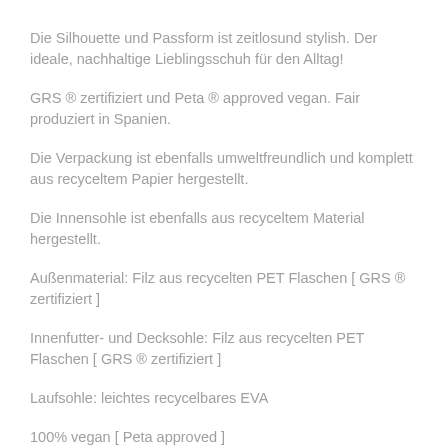Die Silhouette und Passform ist zeitlosund stylish. Der ideale, nachhaltige Lieblingsschuh für den Alltag!
GRS ® zertifiziert und Peta ® approved vegan. Fair produziert in Spanien.
Die Verpackung ist ebenfalls umweltfreundlich und komplett aus recyceltem Papier hergestellt.
Die Innensohle ist ebenfalls aus recyceltem Material hergestellt.
Außenmaterial: Filz aus recycelten PET Flaschen [ GRS ® zertifiziert ]
Innenfutter- und Decksohle: Filz aus recycelten PET Flaschen [ GRS ® zertifiziert ]
Laufsohle: leichtes recycelbares EVA
100% vegan [ Peta approved ]